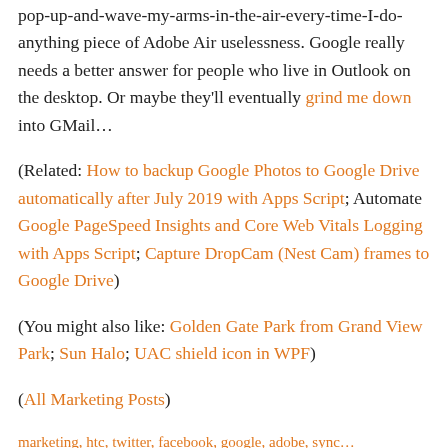pop-up-and-wave-my-arms-in-the-air-every-time-I-do-anything piece of Adobe Air uselessness. Google really needs a better answer for people who live in Outlook on the desktop. Or maybe they'll eventually grind me down into GMail…
(Related: How to backup Google Photos to Google Drive automatically after July 2019 with Apps Script; Automate Google PageSpeed Insights and Core Web Vitals Logging with Apps Script; Capture DropCam (Nest Cam) frames to Google Drive)
(You might also like: Golden Gate Park from Grand View Park; Sun Halo; UAC shield icon in WPF)
(All Marketing Posts)
marketing, htc, twitter, facebook, google, adobe, sync…